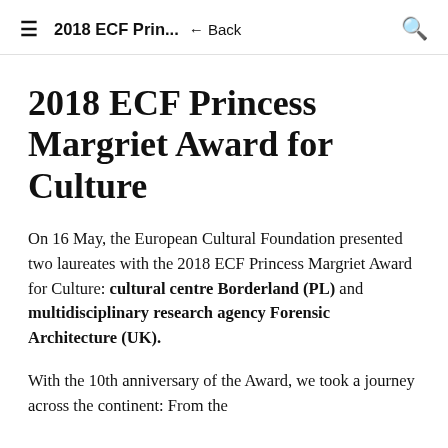2018 ECF Prin... ← Back
2018 ECF Princess Margriet Award for Culture
On 16 May, the European Cultural Foundation presented two laureates with the 2018 ECF Princess Margriet Award for Culture: cultural centre Borderland (PL) and multidisciplinary research agency Forensic Architecture (UK).
With the 10th anniversary of the Award, we took a journey across the continent: From the